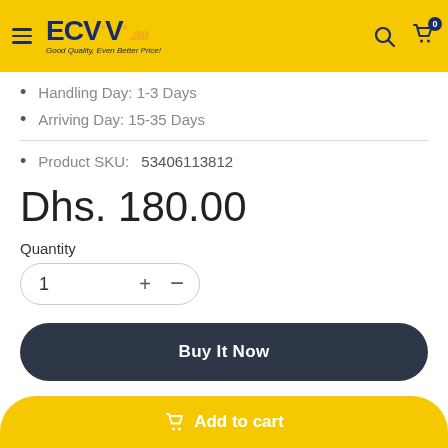ECVV .ae — Good Quality, Even Better Price!
Handling Day: 1-3 Days
Arriving Day: 15-35 Days
Product SKU:  53406113812
Dhs. 180.00
Quantity
1
Buy It Now
Add to cart